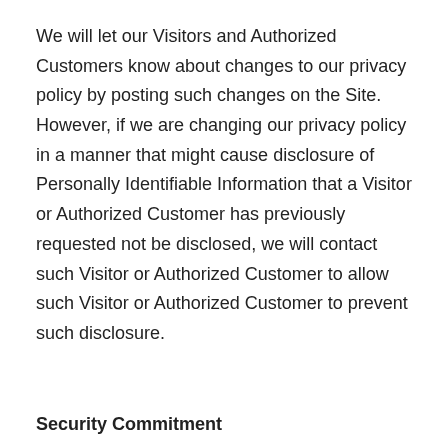We will let our Visitors and Authorized Customers know about changes to our privacy policy by posting such changes on the Site. However, if we are changing our privacy policy in a manner that might cause disclosure of Personally Identifiable Information that a Visitor or Authorized Customer has previously requested not be disclosed, we will contact such Visitor or Authorized Customer to allow such Visitor or Authorized Customer to prevent such disclosure.
Security Commitment